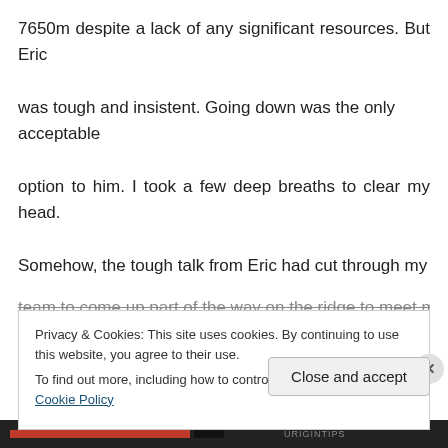7650m despite a lack of any significant resources. But Eric was tough and insistent. Going down was the only acceptable option to him. I took a few deep breaths to clear my head. Somehow, the tough talk from Eric had cut through my muddled hazy thoughts. Eric had already radioed our sherpa team to come up part of the way on the ridge to meet me
Privacy & Cookies: This site uses cookies. By continuing to use this website, you agree to their use. To find out more, including how to control cookies, see here: Cookie Policy
Close and accept